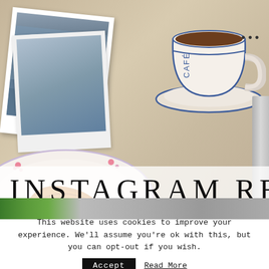[Figure (photo): Overhead flat-lay photo of a Parisian café breakfast scene: a coffee cup with saucer labeled 'CAFÉ' (top right), Polaroid-style photos of the Eiffel Tower (left), a floral plate with a croissant (bottom center), a knife (far right). Over the image is a semi-transparent white banner with 'INSTAGRAM REE' in large serif uppercase letters. Below the main photo is a narrow strip of a second image (green leaves visible). Three dots icon visible top right.]
This website uses cookies to improve your experience. We'll assume you're ok with this, but you can opt-out if you wish.
Accept
Read More